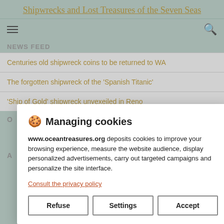Shipwrecks and Lost Treasures of the Seven Seas
Centuries old shipwreck coins to be returned to WA
The forgotten shipwreck of the 'Spanish Titanic'
'Ship of Gold' shipwreck unvexeiled in Reno
🍪 Managing cookies
www.oceantreasures.org deposits cookies to improve your browsing experience, measure the website audience, display personalized advertisements, carry out targeted campaigns and personalize the site interface.
Consult the privacy policy
Refuse | Settings | Accept